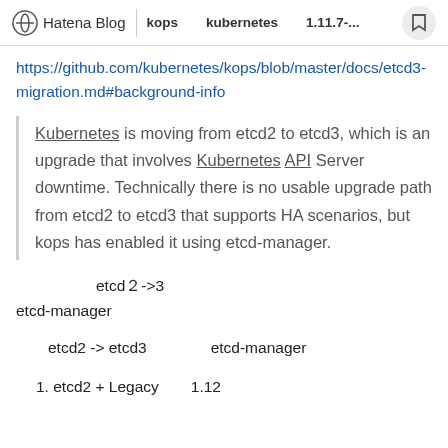Hatena Blog | kops　　kubernetes　　1.11.7-...
https://github.com/kubernetes/kops/blob/master/docs/etcd3-migration.md#background-info
Kubernetes is moving from etcd2 to etcd3, which is an upgrade that involves Kubernetes API Server downtime. Technically there is no usable upgrade path from etcd2 to etcd3 that supports HA scenarios, but kops has enabled it using etcd-manager.
etcd　2->3　etcd-manager
etcd2 -> etcd3　etcd-manager
1. etcd2 + Legacy　1.12